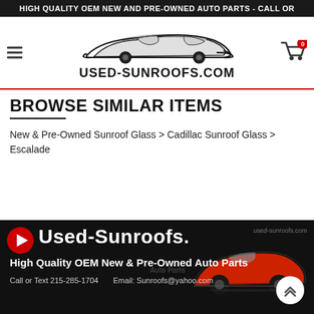HIGH QUALITY OEM NEW AND PRE-OWNED AUTO PARTS - CALL OR
[Figure (logo): Used-Sunroofs.com logo with stylized car silhouette and site name text]
BROWSE SIMILAR ITEMS
New & Pre-Owned Sunroof Glass > Cadillac Sunroof Glass > Escalade
[Figure (infographic): Used-Sunroofs.com advertisement banner with red car image, site name, tagline High Quality OEM New & Pre-Owned Auto Parts, contact info Call or Text 215-285-1704 Email: Sunroofs@yahoo.com]